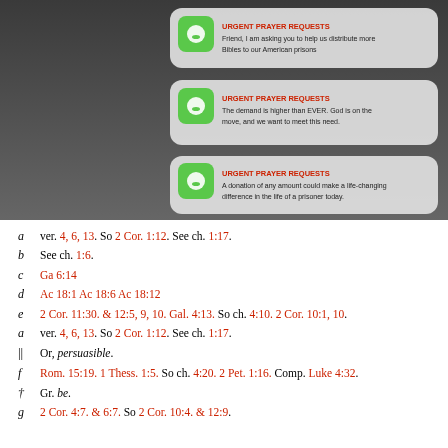[Figure (screenshot): Screenshot of three text message bubbles on a dark background photo of a person reading. Each bubble shows a green iOS message icon and the heading 'URGENT PRAYER REQUESTS' in red, followed by message text about distributing Bibles to American prisons.]
a  ver. 4, 6, 13. So 2 Cor. 1:12. See ch. 1:17.
b  See ch. 1:6.
c  Ga 6:14
d  Ac 18:1 Ac 18:6 Ac 18:12
e  2 Cor. 11:30. & 12:5, 9, 10. Gal. 4:13. So ch. 4:10. 2 Cor. 10:1, 10.
a  ver. 4, 6, 13. So 2 Cor. 1:12. See ch. 1:17.
||  Or, persuasible.
f  Rom. 15:19. 1 Thess. 1:5. So ch. 4:20. 2 Pet. 1:16. Comp. Luke 4:32.
†  Gr. be.
g  2 Cor. 4:7. & 6:7. So 2 Cor. 10:4. & 12:9.